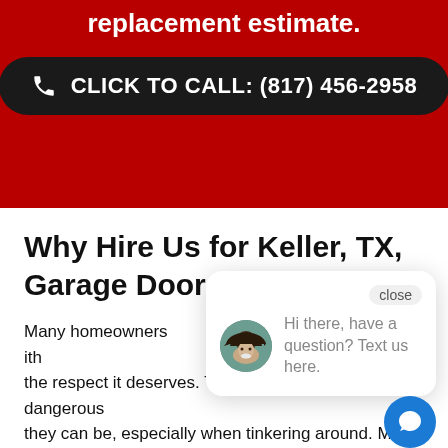replacement estimate.
[Figure (other): Dark rounded rectangle button with phone icon and text: CLICK TO CALL: (817) 456-2958]
Why Hire Us for Keller, TX, Garage Door Repair?
Many homeowners [obscured] with the respect it deserves. They also don't realize how dangerous they can be, especially when tinkering around. Many [obscured] handy housemates rely on online videos and articles for every
[Figure (other): Chat popup overlay with avatar of man in cowboy hat, text: Hi there, have a question? Text us here. Close button and chat bubble icon.]